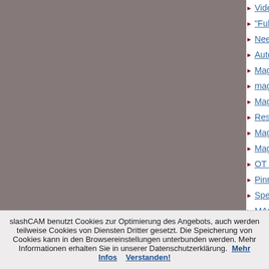Video Deluxe 2006 plus
"Full-HD" Export to Video Deluxe 15 Pros
Need help with the processing of Video D
Automatic Szenerkennung Video Deluxe
Magix Video deluxe 2005/2006 plus
magix video deluxe 2006/2007
Magix Video deluxe 2006 und BSPlayer
Ressourcenhunger Magix Video deluxe 2
Magix Video Deluxe: Kein Import v. AVI ü
Magix Video Delux 2006 e-Version - DV-c
OT Pinnacle 10 versus Video de Luxe 20
Pinnacle 10 versus Video de Luxe 2006 v
Spezielle Erfahrungen mit Magix Video de
MAGIX Video deLuxe?
VHS-Video auf DVD mit Magix Video deL
Magix Video deluxe 2004 Plus
Magix video deluxe Installation
slashCAM benutzt Cookies zur Optimierung des Angebots, auch werden teilweise Cookies von Diensten Dritter gesetzt. Die Speicherung von Cookies kann in den Browsereinstellungen unterbunden werden. Mehr Informationen erhalten Sie in unserer Datenschutzerklärung. Mehr Infos Verstanden!